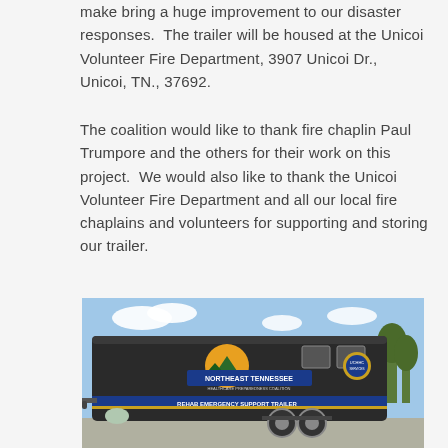make bring a huge improvement to our disaster responses.  The trailer will be housed at the Unicoi Volunteer Fire Department, 3907 Unicoi Dr., Unicoi, TN., 37692.
The coalition would like to thank fire chaplin Paul Trumpore and the others for their work on this project.  We would also like to thank the Unicoi Volunteer Fire Department and all our local fire chaplains and volunteers for supporting and storing our trailer.
[Figure (photo): Photo of a dark-colored Rehab Emergency Support Trailer with Northeast Tennessee Healthcare Preparedness Coalition branding, featuring a yellow sun and green mountain logo, parked in a lot under a blue sky.]